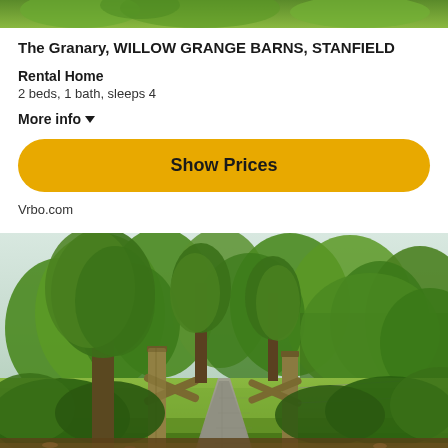[Figure (photo): Top strip of greenery/foliage photo]
The Granary, WILLOW GRANGE BARNS, STANFIELD
Rental Home
2 beds, 1 bath, sleeps 4
More info ▾
Show Prices
Vrbo.com
[Figure (photo): Outdoor garden scene with wooden gate posts, a path leading through lush green trees and grass, sunny summer day]